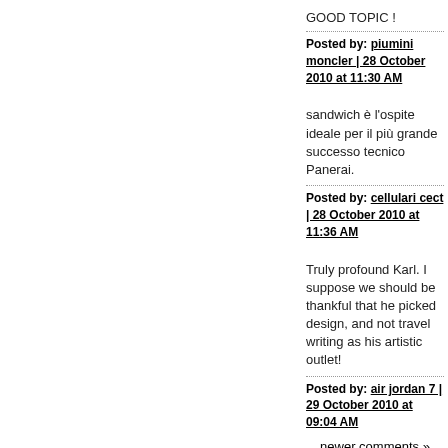GOOD TOPIC !
Posted by: piumini moncler | 28 October 2010 at 11:30 AM
sandwich è l'ospite ideale per il più grande successo tecnico Panerai.
Posted by: cellulari cect | 28 October 2010 at 11:36 AM
Truly profound Karl. I suppose we should be thankful that he picked design, and not travel writing as his artistic outlet!
Posted by: air jordan 7 | 29 October 2010 at 09:04 AM
newer comments »
The comments to this